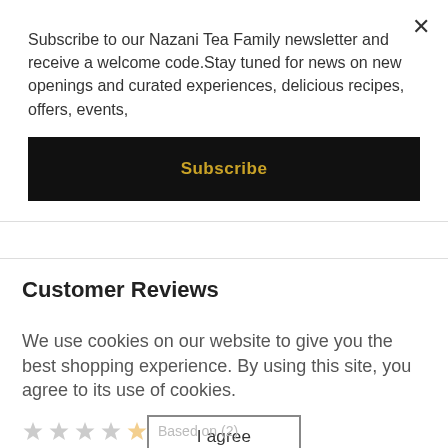Subscribe to our Nazani Tea Family newsletter and receive a welcome code.Stay tuned for news on new openings and curated experiences, delicious recipes, offers, events,
Subscribe
Customer Reviews
We use cookies on our website to give you the best shopping experience. By using this site, you agree to its use of cookies.
I agree